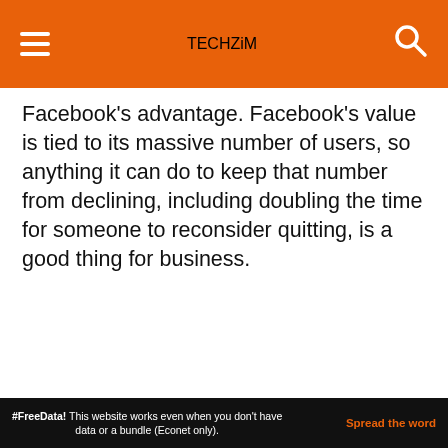TECHZIM
Facebook’s advantage. Facebook’s value is tied to its massive number of users, so anything it can do to keep that number from declining, including doubling the time for someone to reconsider quitting,  is a good thing for business.
share
[Figure (infographic): Four social sharing buttons: WhatsApp (green), Facebook (blue), Twitter (light blue), LinkedIn (dark blue)]
Quick NetOne, Econet, And Telecel Airtime Recharge
nber to recharge:
#FreeData! This website works even when you don't have data or a bundle (Econet only). Spread the word